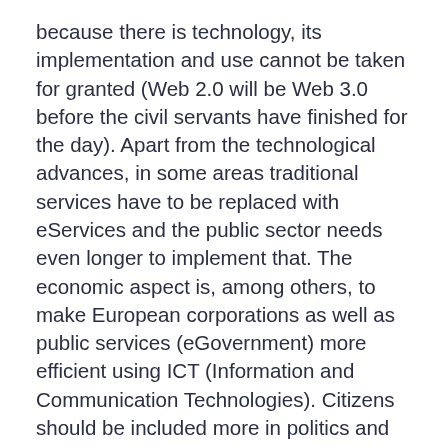because there is technology, its implementation and use cannot be taken for granted (Web 2.0 will be Web 3.0 before the civil servants have finished for the day). Apart from the technological advances, in some areas traditional services have to be replaced with eServices and the public sector needs even longer to implement that. The economic aspect is, among others, to make European corporations as well as public services (eGovernment) more efficient using ICT (Information and Communication Technologies). Citizens should be included more in politics and political decision-making processes with the help of ICT. To make this possible, EU-funded pilot projects are testing the need and the use of citizens in the area of policy-making (eParticipation Preparatory Action plan) since 2006. Communication, interaction, access, efficiency and transparency are key.